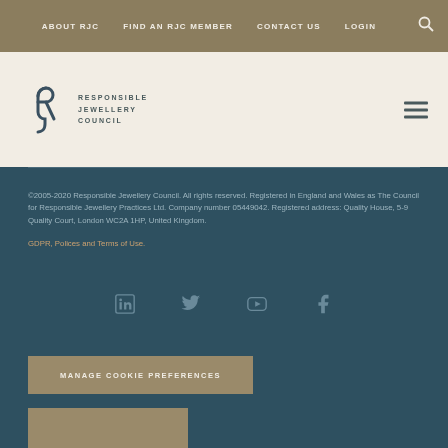ABOUT RJC  FIND AN RJC MEMBER  CONTACT US  LOGIN
[Figure (logo): Responsible Jewellery Council logo with stylized rj monogram and text RESPONSIBLE JEWELLERY COUNCIL]
©2005-2020 Responsible Jewellery Council. All rights reserved. Registered in England and Wales as The Council for Responsible Jewellery Practices Ltd. Company number 05449042. Registered address: Quality House, 5-9 Quality Court, London WC2A 1HP, United Kingdom. GDPR, Polices and Terms of Use.
[Figure (infographic): Social media icons: LinkedIn, Twitter, YouTube, Facebook]
MANAGE COOKIE PREFERENCES